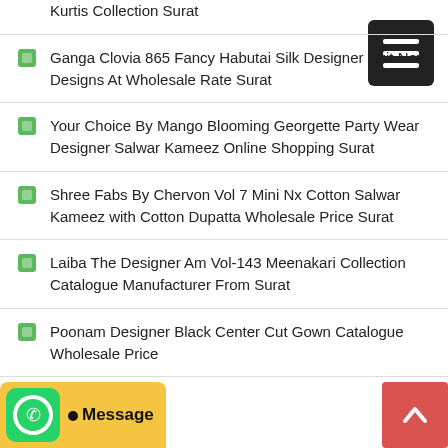Kurtis Collection Surat
Ganga Clovia 865 Fancy Habutai Silk Designer Suit New Designs At Wholesale Rate Surat
Your Choice By Mango Blooming Georgette Party Wear Designer Salwar Kameez Online Shopping Surat
Shree Fabs By Chervon Vol 7 Mini Nx Cotton Salwar Kameez with Cotton Dupatta Wholesale Price Surat
Laiba The Designer Am Vol-143 Meenakari Collection Catalogue Manufacturer From Surat
Poonam Designer Black Center Cut Gown Catalogue Wholesale Price